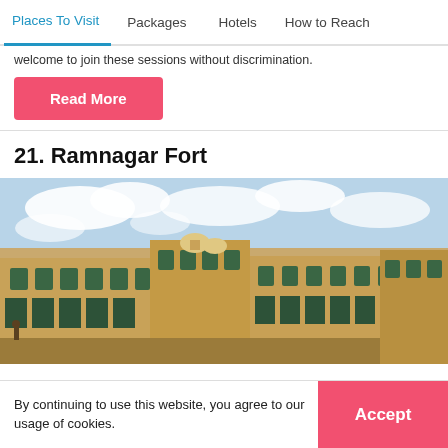Places To Visit | Packages | Hotels | How to Reach
welcome to join these sessions without discrimination.
Read More
21. Ramnagar Fort
[Figure (photo): Photograph of Ramnagar Fort exterior showing yellow-ochre multi-storey buildings with arched windows, green shutters, domed structures, and a cloudy sky background.]
By continuing to use this website, you agree to our usage of cookies.